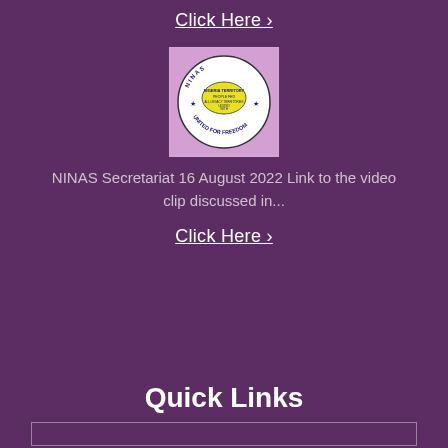Click Here ›
[Figure (logo): NINAS organization circular logo with map of Nigeria and text 'UNITED FOR FREEDOM' on a pink/purple background]
NINAS Secretariat 16 August 2022 Link to the video clip discussed in...
Click Here ›
Quick Links